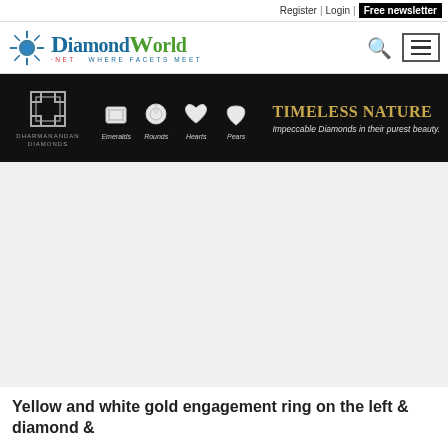Register | Login | Free newsletter
[Figure (logo): Diamond World logo with sunburst icon, blue and green serif text, tagline WHERE FACETS MEET]
[Figure (screenshot): Dharmanandan Diamonds advertisement banner with diamond shapes (Emeralds, Rounds, Hearts, Pears) and text TIMELESS NATURE - Impeccable Diamonds in their purest beauty.]
[Figure (photo): Large grey placeholder area for a jewelry product photo]
Yellow and white gold engagement ring on the left & diamond & ...